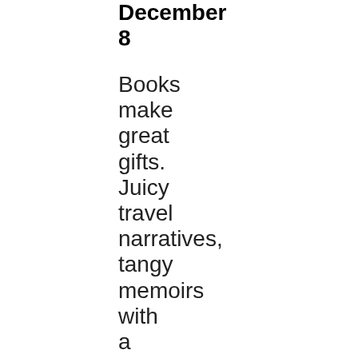December 8
Books make great gifts. Juicy travel narratives, tangy memoirs with a distinct sense of place, photo keepsakes with stop-in-your-